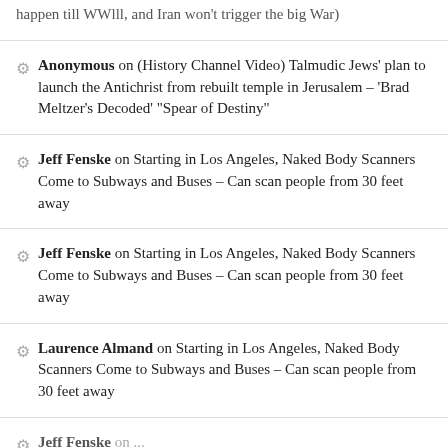happen till WWlll, and Iran won't trigger the big War)
Anonymous on (History Channel Video) Talmudic Jews' plan to launch the Antichrist from rebuilt temple in Jerusalem – 'Brad Meltzer's Decoded' "Spear of Destiny"
Jeff Fenske on Starting in Los Angeles, Naked Body Scanners Come to Subways and Buses – Can scan people from 30 feet away
Jeff Fenske on Starting in Los Angeles, Naked Body Scanners Come to Subways and Buses – Can scan people from 30 feet away
Laurence Almand on Starting in Los Angeles, Naked Body Scanners Come to Subways and Buses – Can scan people from 30 feet away
Jeff Fenske on ...